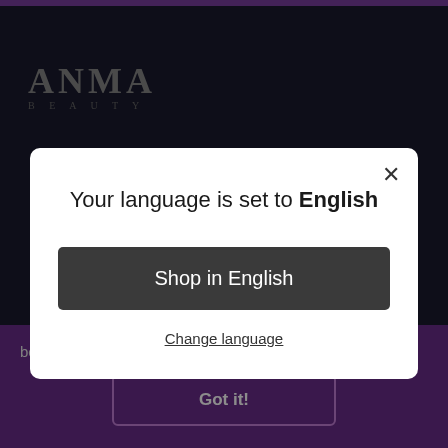[Figure (logo): ANMA BEAUTY logo in gray serif text on dark background]
[Figure (illustration): Pink circle with purple gift box icon]
Your language is set to English
Shop in English
Change language
best experience on our website.  Learn more
Got it!